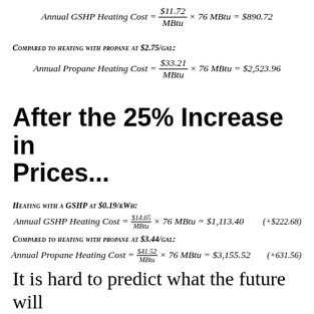Compared to heating with propane at $2.75/gal:
After the 25% Increase in Prices...
Heating with a GSHP at $0.19/kWh:
Compared to heating with propane at $3.44/gal:
It is hard to predict what the future will